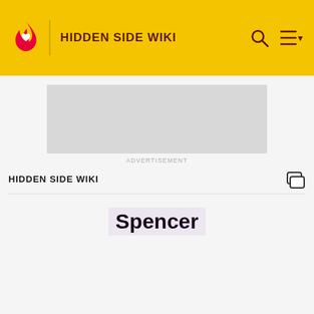HIDDEN SIDE WIKI
[Figure (screenshot): Advertisement placeholder — grey rectangle]
ADVERTISEMENT
HIDDEN SIDE WIKI
Spencer